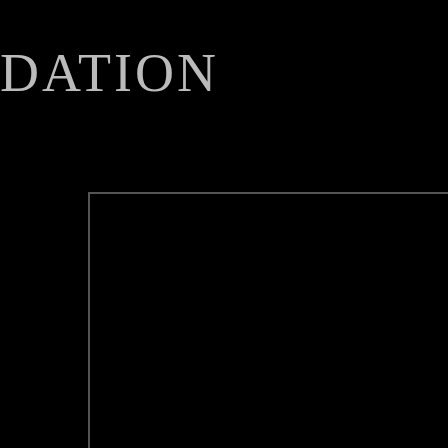DATION
rhodopsin.
Bacteriorhodopsin has been well
eogenous and Consciousness Psychology and Psychotherapy
Parapsychology and Psychical Research